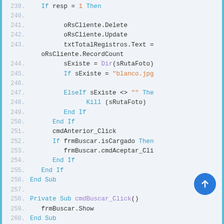Code viewer showing Visual Basic source lines 239–262 with syntax highlighting. Keywords in blue, strings/numbers in orange, function calls in purple.